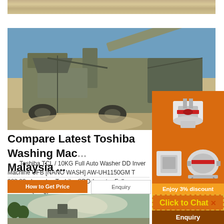[Figure (photo): Top strip showing sandy/dusty terrain from above]
[Figure (photo): Large industrial mobile stone crusher/screening machine on a construction/mining site with blue sky background]
Compare Latest Toshiba Washing Mac[hine] Malaysia ...
Toshiba TCL / 10KG Full Auto Washer DD Inver[ter] Machine UFB [NANO WASH] AW-UH1150GM T[V] 988.00 : Lazada : Toshiba SDD-Inverter Fully[ Auto] Machine (16kg) AW
[Figure (infographic): Orange advertisement overlay showing industrial crushing/mining equipment images, 'Enjoy 3% discount', 'Click to Chat' button, and 'Enquiry' button]
[Figure (photo): Bottom image showing industrial machinery or construction equipment with dust/smoke clouds and trees]
How to Get Price
Enquiry